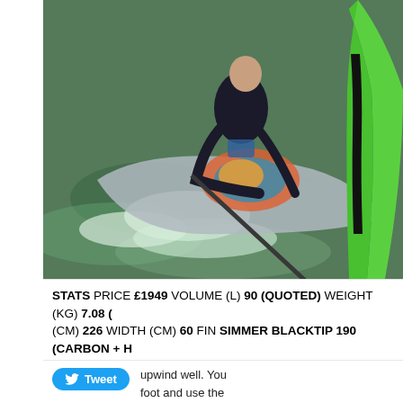[Figure (photo): Overhead action photo of a windsurfer on green water, person in black wetsuit holding a paddle/boom, colorful board visible with orange/blue design, green sail fin visible on right side]
STATS PRICE £1949 VOLUME (L) 90 (QUOTED) WEIGHT (KG) 7.08 ( (CM) 226 WIDTH (CM) 60 FIN SIMMER BLACKTIP 190 (CARBON + H 2X SIMMER M105 (SLOT)
upwind well. You foot and use the drive of the centr